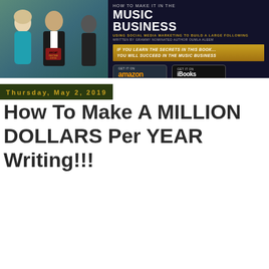[Figure (photo): Banner image showing a book promotion for 'How To Make It In The Music Business' with a photo of people at an ASCAP Rhythm & Soul event on the left, and book title, subtitle, author info, golden promotional banner, and store buttons (Amazon, iBooks) on the right against a dark background.]
Thursday, May 2, 2019
How To Make A MILLION DOLLARS Per YEAR Writing!!!